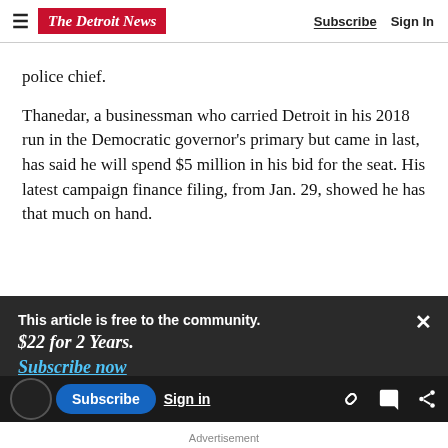The Detroit News — Subscribe | Sign In
police chief.
Thanedar, a businessman who carried Detroit in his 2018 run in the Democratic governor's primary but came in last, has said he will spend $5 million in his bid for the seat. His latest campaign finance filing, from Jan. 29, showed he has that much on hand.
This article is free to the community. $22 for 2 Years. Subscribe now
ghogo's name does not appear on the official
Subscribe  Sign in  Advertisement